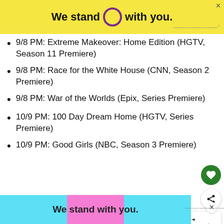[Figure (illustration): Yellow advertisement banner reading 'We stand O with you.' where O is a purple circle outline, with close/mute icons.]
9/8 PM: Extreme Makeover: Home Edition (HGTV, Season 11 Premiere)
9/8 PM: Race for the White House (CNN, Season 2 Premiere)
9/8 PM: War of the Worlds (Epix, Series Premiere)
10/9 PM: 100 Day Dream Home (HGTV, Series Premiere)
10/9 PM: Good Girls (NBC, Season 3 Premiere)
[Figure (illustration): Blue and pink advertisement banner at the bottom reading 'We stand with you.' with close button and mute icon.]